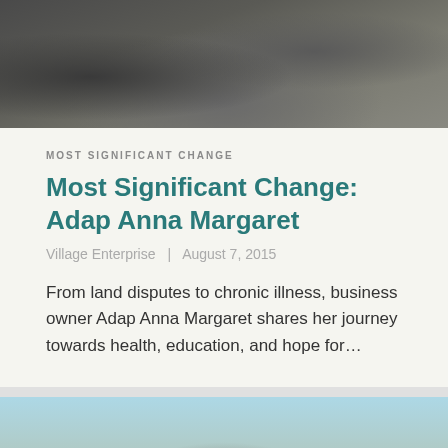[Figure (photo): Dark photograph showing people outdoors with earthy/rocky background tones]
MOST SIGNIFICANT CHANGE
Most Significant Change: Adap Anna Margaret
Village Enterprise  |  August 7, 2015
From land disputes to chronic illness, business owner Adap Anna Margaret shares her journey towards health, education, and hope for...
[Figure (photo): Outdoor photograph with light blue sky, vegetation, and people visible at the bottom]